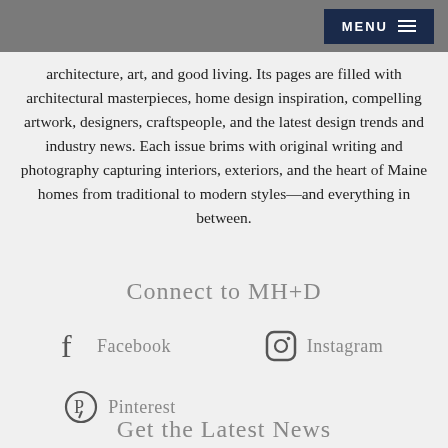MENU
architecture, art, and good living. Its pages are filled with architectural masterpieces, home design inspiration, compelling artwork, designers, craftspeople, and the latest design trends and industry news. Each issue brims with original writing and photography capturing interiors, exteriors, and the heart of Maine homes from traditional to modern styles—and everything in between.
Connect to MH+D
Facebook
Instagram
Pinterest
Get the Latest News